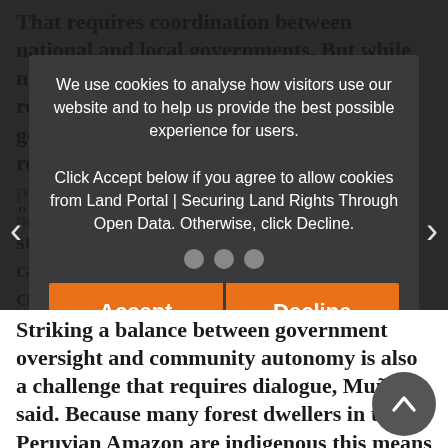That requires coordination between national and local governments. But while national governments are generally responsible for developing policies, local governments — which often share responsibility for translating policy to practice — may lack necessary expertise or political will.
"Our country is decentralizing, and strengthening regional governments' capacities and access to information is critical," said Fabiola Munoz, who heads the Peruvian Forest Service. "There is a key role for research, but the role of local governance is also cru...
[Figure (screenshot): Cookie consent dialog overlay with Accept and Decline buttons. Text reads: 'We use cookies to analyse how visitors use our website and to help us provide the best possible experience for users. Click Accept below if you agree to allow cookies from Land Portal | Securing Land Rights Through Open Data. Otherwise, click Decline.' Navigation arrows on left and right sides, three grey pagination dots above the buttons.]
Striking a balance between government oversight and community autonomy is also a challenge that requires dialogue, Muñoz said. Because many forest dwellers in the Peruvian Amazon are indigenous this means “ensuring that people receive information in their own language”.